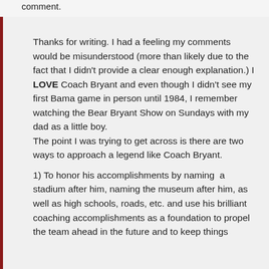comment.
Thanks for writing. I had a feeling my comments would be misunderstood (more than likely due to the fact that I didn't provide a clear enough explanation.) I LOVE Coach Bryant and even though I didn't see my first Bama game in person until 1984, I remember watching the Bear Bryant Show on Sundays with my dad as a little boy.
The point I was trying to get across is there are two ways to approach a legend like Coach Bryant.
1) To honor his accomplishments by naming a stadium after him, naming the museum after him, as well as high schools, roads, etc. and use his brilliant coaching accomplishments as a foundation to propel the team ahead in the future and to keep things